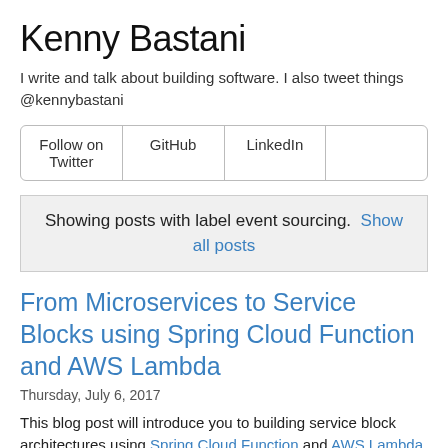Kenny Bastani
I write and talk about building software. I also tweet things @kennybastani
| Follow on Twitter | GitHub | LinkedIn |  |
| --- | --- | --- | --- |
Showing posts with label event sourcing. Show all posts
From Microservices to Service Blocks using Spring Cloud Function and AWS Lambda
Thursday, July 6, 2017
This blog post will introduce you to building service block architectures using Spring Cloud Function and AWS Lambda.